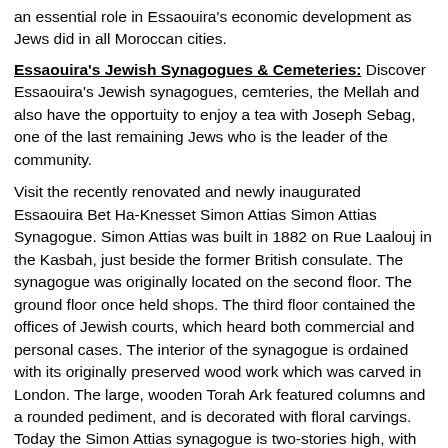an essential role in Essaouira's economic development as Jews did in all Moroccan cities.
Essaouira's Jewish Synagogues & Cemeteries: Discover Essaouira's Jewish synagogues, cemteries, the Mellah and also have the opportuity to enjoy a tea with Joseph Sebag, one of the last remaining Jews who is the leader of the community.
Visit the recently renovated and newly inaugurated Essaouira Bet Ha-Knesset Simon Attias Simon Attias Synagogue. Simon Attias was built in 1882 on Rue Laalouj in the Kasbah, just beside the former British consulate. The synagogue was originally located on the second floor. The ground floor once held shops. The third floor contained the offices of Jewish courts, which heard both commercial and personal cases. The interior of the synagogue is ordained with its originally preserved wood work which was carved in London. The large, wooden Torah Ark featured columns and a rounded pediment, and is decorated with floral carvings. Today the Simon Attias synagogue is two-stories high, with large, rounded-arch windows with a Jewish Museum and a future cultural center. Once complete the Jewish Cultural Center will bear the name of the contemporary historian Haim Zafrani, originating from the city, guaranteeing the preservation of Moroccan Jewish heritage and helping to strengthen the national identity of the country.